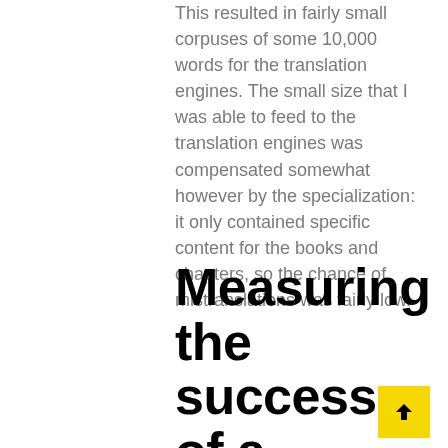This resulted in fairly small corpuses of some 10,000 words for the translation engines. The small size that I was able to feed to the translation engines was compensated somewhat however by the specialization: it only contained specific content for the books and chapters, so the chance of mistranslations was fairly low.
Measuring the success of a literary translation